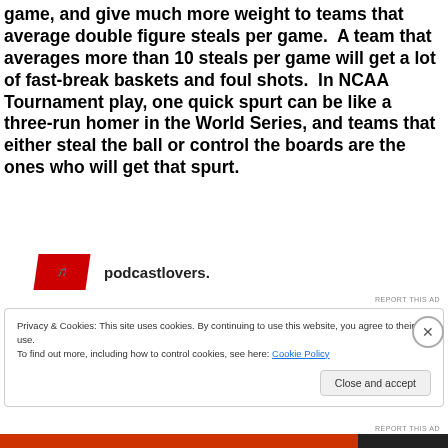game, and give much more weight to teams that average double figure steals per game.  A team that averages more than 10 steals per game will get a lot of fast-break baskets and foul shots.  In NCAA Tournament play, one quick spurt can be like a three-run homer in the World Series, and teams that either steal the ball or control the boards are the ones who will get that spurt.
[Figure (other): Advertisement banner with red logo and 'podcastlovers.' text]
REPORT THIS AD
Privacy & Cookies: This site uses cookies. By continuing to use this website, you agree to their use.
To find out more, including how to control cookies, see here: Cookie Policy
Close and accept
[Figure (other): Bottom advertisement bar in red and dark colors]